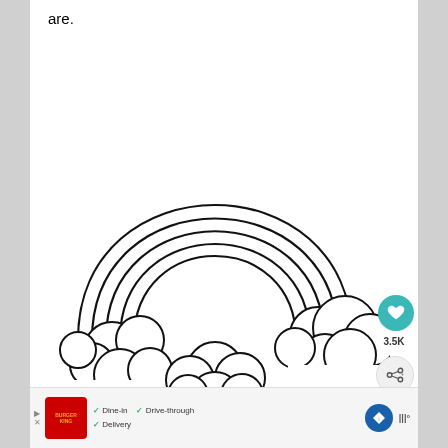are.
[Figure (illustration): A coloring page illustration of a rainbow with two clouds on either side, shown as outline drawing. Five arched lines form the rainbow bands. Two puffy clouds are at the left and right ends of the rainbow. The image is black and white, suitable for coloring.]
For more educational and do a dot printables please visit www.crystalandcomp.com.
WHAT'S NEXT → St. Patrick's Day Rainbo....
3.5K
Dine-in  Drive-through  Delivery